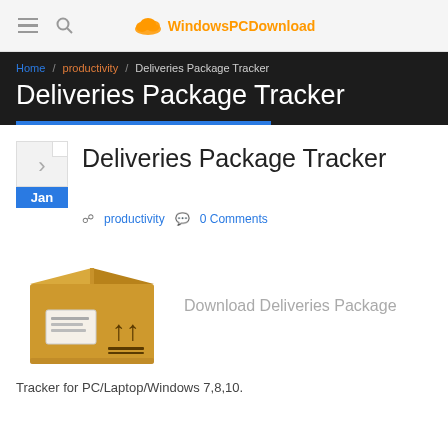WindowsPCDownload
Home / productivity / Deliveries Package Tracker
Deliveries Package Tracker
Deliveries Package Tracker
productivity  0 Comments
[Figure (illustration): Brown cardboard delivery package box with shipping label and arrows pointing up]
Download Deliveries Package
Tracker for PC/Laptop/Windows 7,8,10.